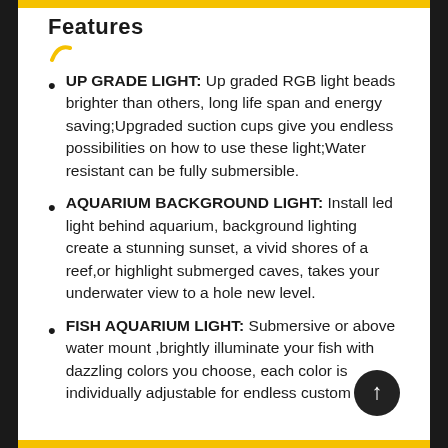Features
UP GRADE LIGHT: Up graded RGB light beads brighter than others, long life span and energy saving;Upgraded suction cups give you endless possibilities on how to use these light;Water resistant can be fully submersible.
AQUARIUM BACKGROUND LIGHT: Install led light behind aquarium, background lighting create a stunning sunset, a vivid shores of a reef,or highlight submerged caves, takes your underwater view to a hole new level.
FISH AQUARIUM LIGHT: Submersive or above water mount ,brightly illuminate your fish with dazzling colors you choose, each color is individually adjustable for endless custom